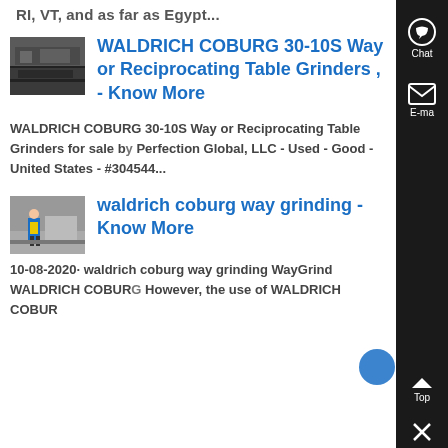RI, VT, and as far as Egypt...
[Figure (photo): Thumbnail image of industrial grinding machine equipment]
WALDRICH COBURG 30-10S Way or Reciprocating Table Grinders , - Know More
WALDRICH COBURG 30-10S Way or Reciprocating Table Grinders for sale by Perfection Global, LLC - Used - Good - United States - #304544...
[Figure (photo): Thumbnail image of person in yellow vest near a large machine surface]
waldrich coburg way grinding - Know More
10-08-2020· waldrich coburg way grinding WayGrind WALDRICH COBURG However, the use of WALDRICH COBUR